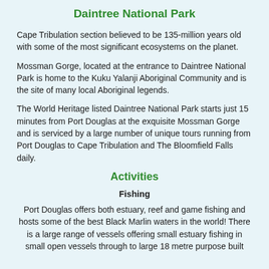Daintree National Park
Cape Tribulation section believed to be 135-million years old with some of the most significant ecosystems on the planet.
Mossman Gorge, located at the entrance to Daintree National Park is home to the Kuku Yalanji Aboriginal Community and is the site of many local Aboriginal legends.
The World Heritage listed Daintree National Park starts just 15 minutes from Port Douglas at the exquisite Mossman Gorge and is serviced by a large number of unique tours running from Port Douglas to Cape Tribulation and The Bloomfield Falls daily.
Activities
Fishing
Port Douglas offers both estuary, reef and game fishing and hosts some of the best Black Marlin waters in the world! There is a large range of vessels offering small estuary fishing in small open vessels through to large 18 metre purpose built